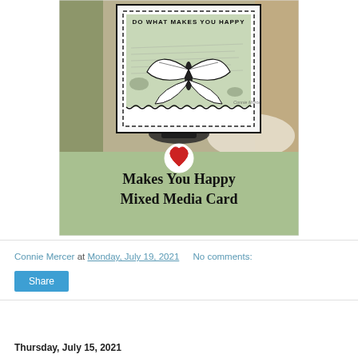[Figure (illustration): Thumbnail image of a craft card tutorial titled 'Makes You Happy Mixed Media Card'. Shows a handmade card with a postage stamp design featuring a butterfly and the text 'DO WHAT MAKES YOU HAPPY', displayed on a dark stand. Below the photo is a sage green section with a red heart logo circle and the text 'Makes You Happy Mixed Media Card' in large black serif font.]
Connie Mercer at Monday, July 19, 2021   No comments:
Share
Thursday, July 15, 2021